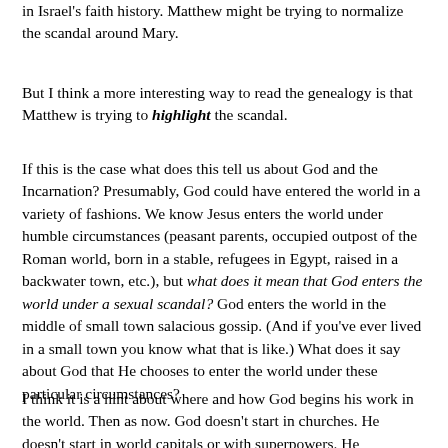Matthew may be arguing, isn't so different from other women in Israel's faith history. Matthew might be trying to normalize the scandal around Mary.
But I think a more interesting way to read the genealogy is that Matthew is trying to highlight the scandal.
If this is the case what does this tell us about God and the Incarnation? Presumably, God could have entered the world in a variety of fashions. We know Jesus enters the world under humble circumstances (peasant parents, occupied outpost of the Roman world, born in a stable, refugees in Egypt, raised in a backwater town, etc.), but what does it mean that God enters the world under a sexual scandal? God enters the world in the middle of small town salacious gossip. (And if you've ever lived in a small town you know what that is like.) What does it say about God that He chooses to enter the world under these particular circumstances?
I think it is a hint about where and how God begins his work in the world. Then as now. God doesn't start in churches. He doesn't start in world capitals or with superpowers. He